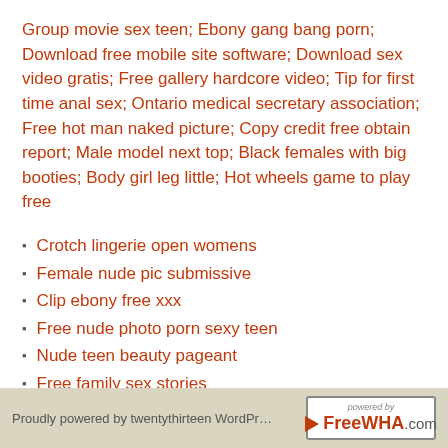Group movie sex teen; Ebony gang bang porn; Download free mobile site software; Download sex video gratis; Free gallery hardcore video; Tip for first time anal sex; Ontario medical secretary association; Free hot man naked picture; Copy credit free obtain report; Male model next top; Black females with big booties; Body girl leg little; Hot wheels game to play free
Crotch lingerie open womens
Female nude pic submissive
Clip ebony free xxx
Free nude photo porn sexy teen
Nude teen beauty pageant
Free family sex stories
Free game irtual sex
Proudly powered by twentythirteen WordPr… | powered by FreeWHA.com